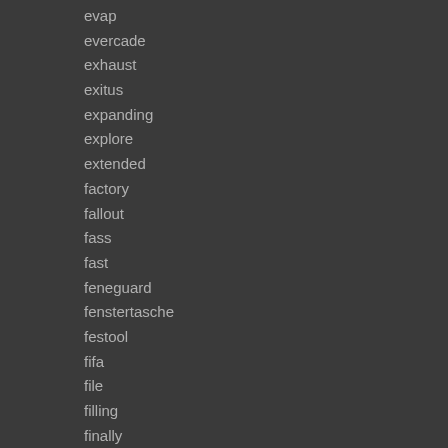evap
evercade
exhaust
exitus
expanding
explore
extended
factory
fallout
fass
fast
feneguard
fenstertasche
festool
fifa
file
filling
finally
fingerprint
first
firstpos
fish
fitech